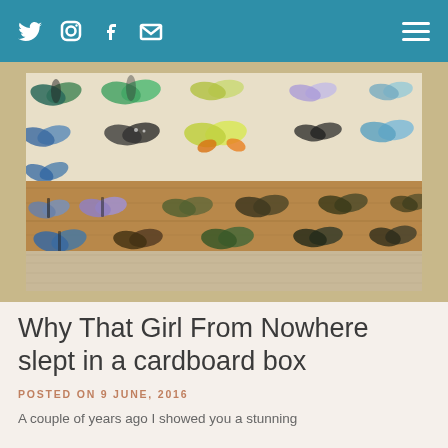Twitter Instagram Facebook Email [hamburger menu]
[Figure (photo): A decorated box with butterfly motifs. The top shows wrapping paper or lining with colorful butterflies in green, blue, purple, and yellow on a cream background. The side of the box is brown/tan with cut-out butterfly silhouettes through which colorful butterflies are visible.]
Why That Girl From Nowhere slept in a cardboard box
POSTED ON 9 JUNE, 2016
A couple of years ago I showed you a stunning...